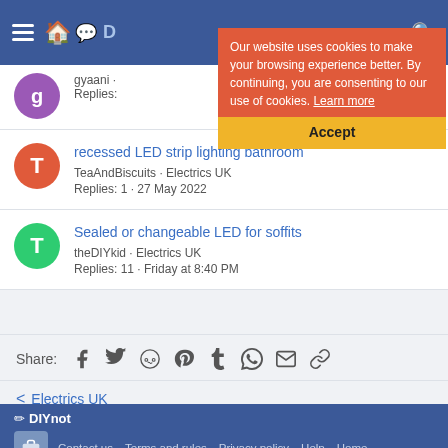DIYnot navigation bar
Our website uses cookies to make your browsing experience better. By continuing, you are consenting to our use of cookies. Learn more
Accept
gyaani · Replies:
recessed LED strip lighting bathroom
TeaAndBiscuits · Electrics UK
Replies: 1 · 27 May 2022
Sealed or changeable LED for soffits
theDIYkid · Electrics UK
Replies: 11 · Friday at 8:40 PM
Share:
< Electrics UK
DIYnot  Contact us  Terms and rules  Privacy policy  Help  Home